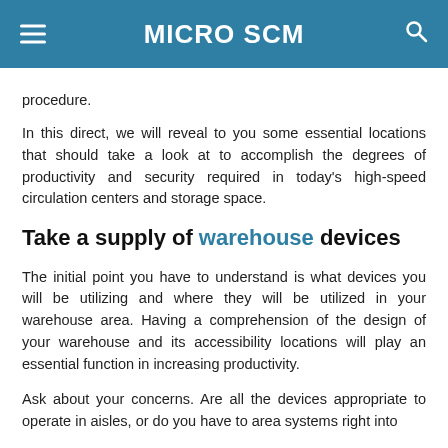MICRO SCM
procedure.
In this direct, we will reveal to you some essential locations that should take a look at to accomplish the degrees of productivity and security required in today's high-speed circulation centers and storage space.
Take a supply of warehouse devices
The initial point you have to understand is what devices you will be utilizing and where they will be utilized in your warehouse area. Having a comprehension of the design of your warehouse and its accessibility locations will play an essential function in increasing productivity.
Ask about your concerns. Are all the devices appropriate to operate in aisles, or do you have to area systems right into